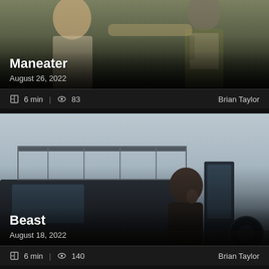[Figure (photo): Movie thumbnail for Maneater showing a blonde woman and a person in tactical gear in an outdoor setting]
Maneater
August 26, 2022
6 min | 83  Brian Taylor
[Figure (photo): Movie thumbnail for Beast showing a man leaning against a vehicle with a roof rack in a savanna or arid landscape]
Beast
August 18, 2022
6 min | 140  Brian Taylor